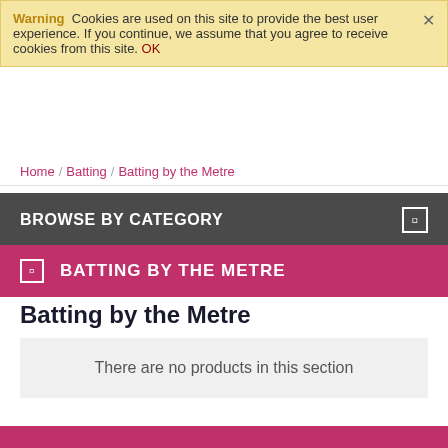Warning  Cookies are used on this site to provide the best user experience. If you continue, we assume that you agree to receive cookies from this site. OK
Home / Batting / Batting by the Metre
BROWSE BY CATEGORY
BATTING BY THE METRE
Batting by the Metre
There are no products in this section